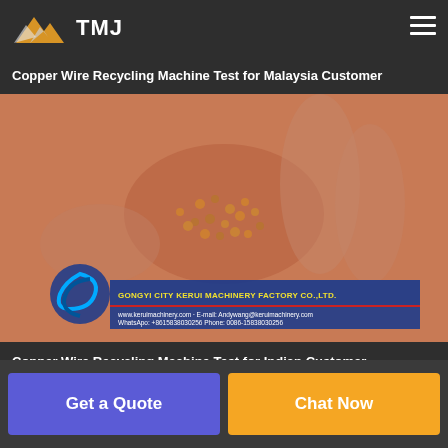TMJ
Copper Wire Recycling Machine Test for Malaysia Customer
[Figure (photo): A hand holding copper granules/fragments produced by a copper wire recycling machine. The image has a company overlay banner from Gongyi City Kerui Machinery Factory Co.,Ltd. with contact information including website www.keruimachinery.com, email Andywang@keruimachinery.com, WhatsApp +8615838030256, Phone 0086-15838030256.]
Copper Wire Recycling Machine Test for Indian Customer
Get a Quote
Chat Now